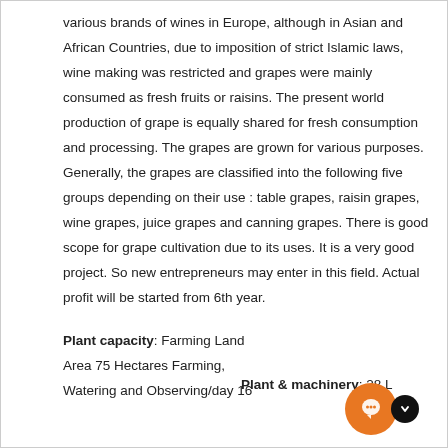various brands of wines in Europe, although in Asian and African Countries, due to imposition of strict Islamic laws, wine making was restricted and grapes were mainly consumed as fresh fruits or raisins. The present world production of grape is equally shared for fresh consumption and processing. The grapes are grown for various purposes. Generally, the grapes are classified into the following five groups depending on their use : table grapes, raisin grapes, wine grapes, juice grapes and canning grapes. There is good scope for grape cultivation due to its uses. It is a very good project. So new entrepreneurs may enter in this field. Actual profit will be started from 6th year.
Plant capacity: Farming Land Area 75 Hectares Farming, Watering and Observing/day 16
Plant & machinery: 28 L